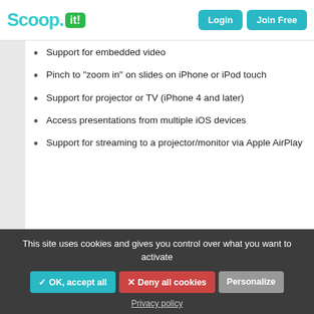Scoop.it! — Login | Join Free
Support for embedded video
Pinch to "zoom in" on slides on iPhone or iPod touch
Support for projector or TV (iPhone 4 and later)
Access presentations from multiple iOS devices
Support for streaming to a projector/monitor via Apple AirPlay
View slide notes
Slide and presentation timers
Animation counter
See previous and next slides
Hide or re-order slides
Share presentations online for on-demand viewing
Share via email and social media
User & permission management
Usage reporting and analytics
Auto-advance slides and "looping mode"
There are two versions of SlideShark available: a Individual Free version that is completely free and which offers up to 100MB of storage...
This site uses cookies and gives you control over what you want to activate
✓ OK, accept all  ✕ Deny all cookies  Personalize
Privacy policy
View desktop version